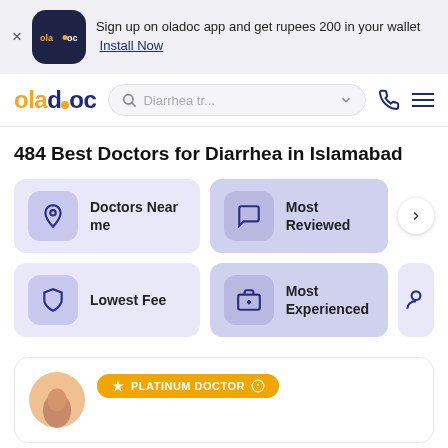Sign up on oladoc app and get rupees 200 in your wallet  Install Now
[Figure (logo): oladoc app logo - dark navy rounded square with orange 'oladoc' text]
[Figure (logo): oladoc website logo - orange 'ola' + navy 'doc' with orange dot]
Diarrhea tr...
484 Best Doctors for Diarrhea in Islamabad
Doctors Near me
Most Reviewed
Lowest Fee
Most Experienced
PLATINUM DOCTOR